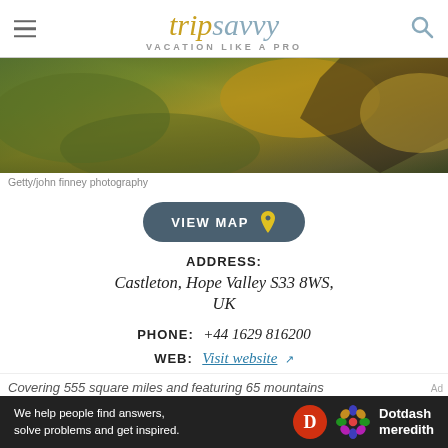tripsavvy VACATION LIKE A PRO
[Figure (photo): Rocky landscape with mossy rocks and golden yellow stones, nature/cave scene]
Getty/john finney photography
VIEW MAP
ADDRESS: Castleton, Hope Valley S33 8WS, UK
PHONE: +44 1629 816200
WEB: Visit website
Covering 555 square miles and featuring 65 mountains
We help people find answers, solve problems and get inspired. Dotdash meredith